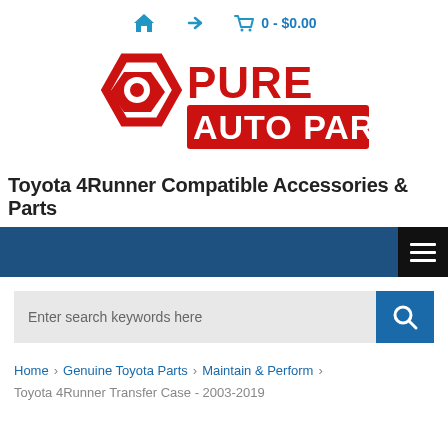🏠 → 🛒 0 - $0.00
[Figure (logo): Pure Auto Parts logo — red hexagon bolt icon on left, red bold text 'PURE AUTO PARTS' on right with 'AUTO PARTS' on second line in a red rectangle]
Toyota 4Runner Compatible Accessories & Parts
[Figure (screenshot): Dark blue navigation bar with black hamburger menu button on the right showing three white horizontal lines]
[Figure (screenshot): Search bar with grey input area showing 'Enter search keywords here' and blue search button with magnifier icon]
Home > Genuine Toyota Parts > Maintain & Perform > Toyota 4Runner Transfer Case - 2003-2019